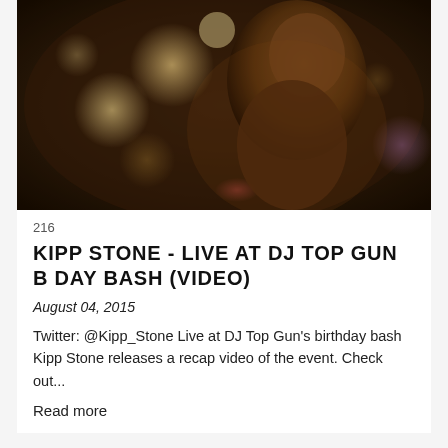[Figure (photo): Dark moody photo of a person in low light with bokeh background lights, warm orange/golden tones]
216
KIPP STONE - LIVE AT DJ TOP GUN B DAY BASH (VIDEO)
August 04, 2015
Twitter: @Kipp_Stone Live at DJ Top Gun's birthday bash Kipp Stone releases a recap video of the event. Check out...
Read more